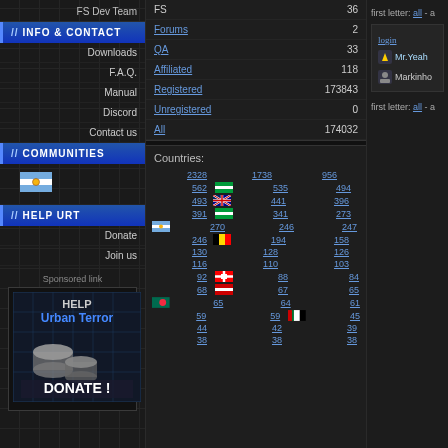FS Dev Team
INFO & CONTACT
Downloads
F.A.Q.
Manual
Discord
Contact us
COMMUNITIES
[Figure (illustration): Argentina flag]
HELP URT
Donate
Join us
Sponsored link
[Figure (infographic): Help Urban Terror DONATE! banner with coins]
| Category | Count |
| --- | --- |
| FS | 36 |
| Forums | 2 |
| QA | 33 |
| Affiliated | 118 |
| Registered | 173843 |
| Unregistered | 0 |
| All | 174032 |
Countries:
| Col1 | Col2 | Col3 |
| --- | --- | --- |
| 2328 | 1738 | 956 |
| 562 | 535 | 494 |
| 493 | 441 | 396 |
| 391 | 341 | 273 |
| 270 | 246 | 247 |
| 246 | 194 | 158 |
| 130 | 128 | 126 |
| 116 | 110 | 103 |
| 92 | 88 | 84 |
| 68 | 67 | 65 |
| 65 | 64 | 61 |
| 59 | 59 | 45 |
| 44 | 42 | 39 |
| 38 | 38 | 38 |
first letter: all - a
login
Mr.Yeah
Markinho
first letter: all - a